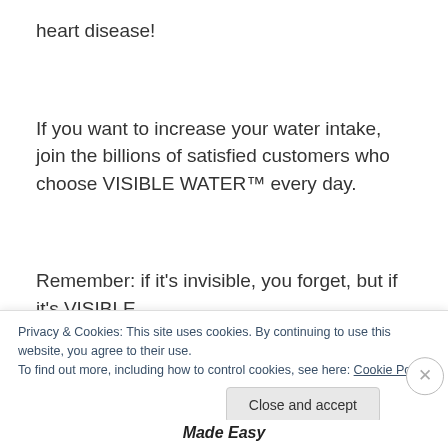heart disease!
If you want to increase your water intake, join the billions of satisfied customers who choose VISIBLE WATER™ every day.
Remember: if it's invisible, you forget, but if it's VISIBLE
Privacy & Cookies: This site uses cookies. By continuing to use this website, you agree to their use.
To find out more, including how to control cookies, see here: Cookie Policy
Close and accept
Made Easy